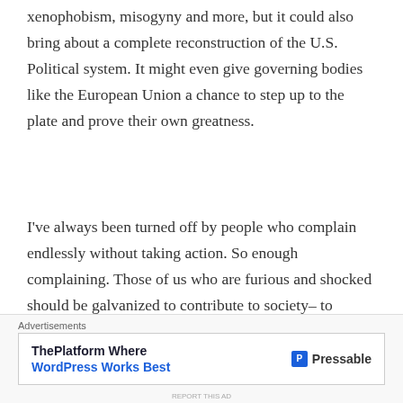xenophobism, misogyny and more, but it could also bring about a complete reconstruction of the U.S. Political system. It might even give governing bodies like the European Union a chance to step up to the plate and prove their own greatness.
I've always been turned off by people who complain endlessly without taking action. So enough complaining. Those of us who are furious and shocked should be galvanized to contribute to society– to educate, to include, to go into politics! I'm giving myself the rest of the day to mourn, but I'll recommit to my plans to start a...
Advertisements
[Figure (other): Advertisement banner for Pressable - ThePlatform Where WordPress Works Best]